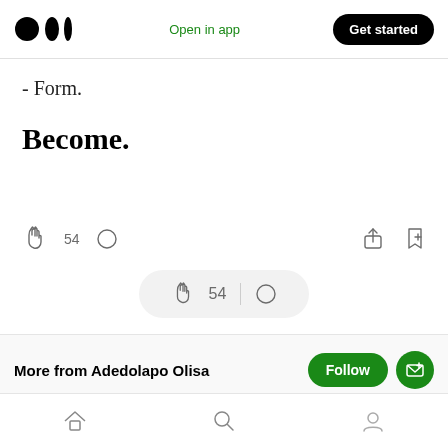Open in app  Get started
- Form.
Become.
54 [clap icon] [comment icon] [share icon] [bookmark icon]
54 [clap icon] | [comment icon] (floating pill)
More from Adedolapo Olisa
[home icon] [search icon] [profile icon]